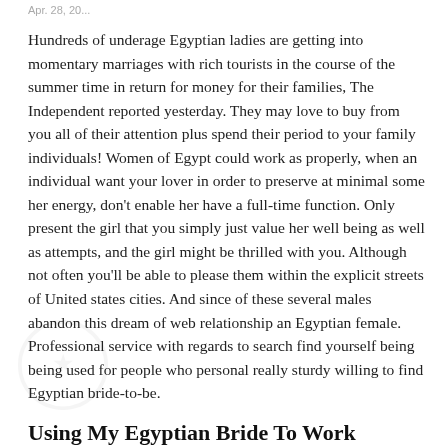Apr. 28, 20...
Hundreds of underage Egyptian ladies are getting into momentary marriages with rich tourists in the course of the summer time in return for money for their families, The Independent reported yesterday. They may love to buy from you all of their attention plus spend their period to your family individuals! Women of Egypt could work as properly, when an individual want your lover in order to preserve at minimal some her energy, don't enable her have a full-time function. Only present the girl that you simply just value her well being as well as attempts, and the girl might be thrilled with you. Although not often you'll be able to please them within the explicit streets of United states cities. And since of these several males abandon this dream of web relationship an Egyptian female. Professional service with regards to search find yourself being being used for people who personal really sturdy willing to find Egyptian bride-to-be.
Using My Egyptian Bride To Work